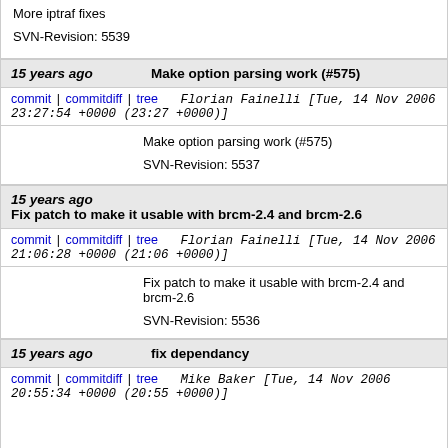More iptraf fixes

SVN-Revision: 5539
15 years ago   Make option parsing work (#575)
commit | commitdiff | tree   Florian Fainelli [Tue, 14 Nov 2006 23:27:54 +0000 (23:27 +0000)]
Make option parsing work (#575)

SVN-Revision: 5537
15 years ago   Fix patch to make it usable with brcm-2.4 and brcm-2.6
commit | commitdiff | tree   Florian Fainelli [Tue, 14 Nov 2006 21:06:28 +0000 (21:06 +0000)]
Fix patch to make it usable with brcm-2.4 and brcm-2.6

SVN-Revision: 5536
15 years ago   fix dependancy
commit | commitdiff | tree   Mike Baker [Tue, 14 Nov 2006 20:55:34 +0000 (20:55 +0000)]